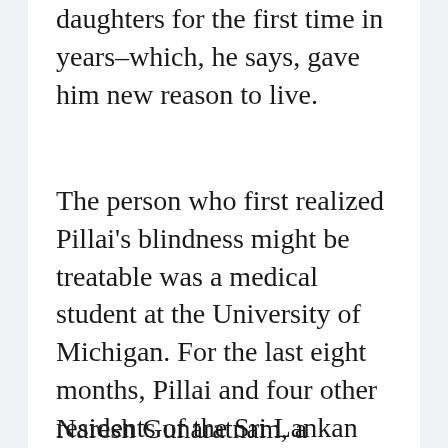daughters for the first time in years–which, he says, gave him new reason to live.
The person who first realized Pillai's blindness might be treatable was a medical student at the University of Michigan. For the last eight months, Pillai and four other residents of the Sri Lankan facility have received group medical consultations from five U-M medical students via Skype.
Naresh Gunaratnam, a